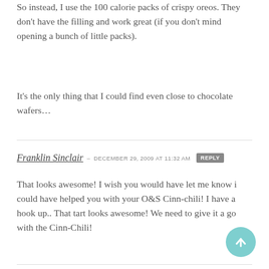So instead, I use the 100 calorie packs of crispy oreos. They don't have the filling and work great (if you don't mind opening a bunch of little packs).
It's the only thing that I could find even close to chocolate wafers…
Franklin Sinclair – DECEMBER 29, 2009 at 11:32 AM REPLY
That looks awesome! I wish you would have let me know i could have helped you with your O&S Cinn-chili! I have a hook up.. That tart looks awesome! We need to give it a go with the Cinn-Chili!